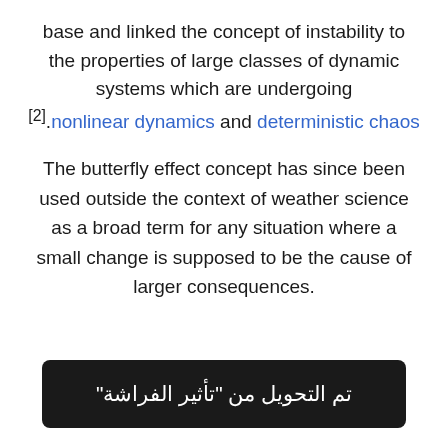base and linked the concept of instability to the properties of large classes of dynamic systems which are undergoing [2].nonlinear dynamics and deterministic chaos
The butterfly effect concept has since been used outside the context of weather science as a broad term for any situation where a small change is supposed to be the cause of larger consequences.
[Figure (other): Dark button/banner with Arabic text reading: تم التحويل من 'تأثير الفراشة']